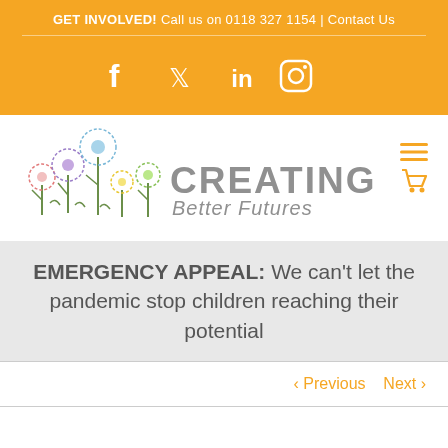GET INVOLVED! Call us on 0118 327 1154 | Contact Us
[Figure (other): Social media icon bar with Facebook, Twitter, LinkedIn, and Instagram icons on orange background]
[Figure (logo): Creating Better Futures logo with colorful dandelion flowers illustration and charity name]
EMERGENCY APPEAL: We can't let the pandemic stop children reaching their potential
< Previous   Next >